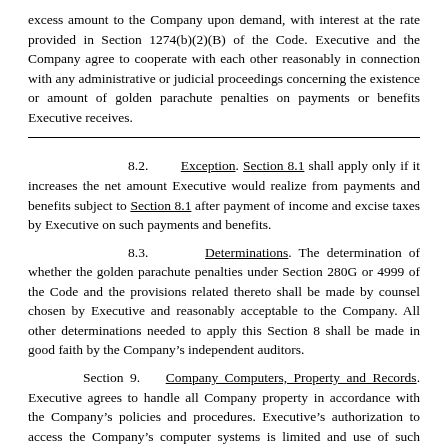excess amount to the Company upon demand, with interest at the rate provided in Section 1274(b)(2)(B) of the Code. Executive and the Company agree to cooperate with each other reasonably in connection with any administrative or judicial proceedings concerning the existence or amount of golden parachute penalties on payments or benefits Executive receives.
8.2. Exception. Section 8.1 shall apply only if it increases the net amount Executive would realize from payments and benefits subject to Section 8.1 after payment of income and excise taxes by Executive on such payments and benefits.
8.3. Determinations. The determination of whether the golden parachute penalties under Section 280G or 4999 of the Code and the provisions related thereto shall be made by counsel chosen by Executive and reasonably acceptable to the Company. All other determinations needed to apply this Section 8 shall be made in good faith by the Company’s independent auditors.
Section 9. Company Computers, Property and Records. Executive agrees to handle all Company property in accordance with the Company’s policies and procedures. Executive’s authorization to access the Company’s computer systems is limited and use of such systems to compete or prepare to compete with the Company constitutes unauthorized access that is strictly